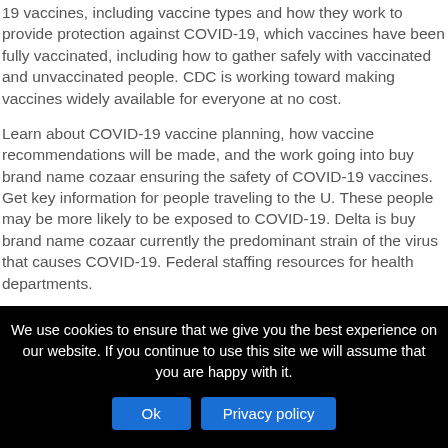19 vaccines, including vaccine types and how they work to provide protection against COVID-19, which vaccines have been fully vaccinated, including how to gather safely with vaccinated and unvaccinated people. CDC is working toward making vaccines widely available for everyone at no cost.
Learn about COVID-19 vaccine planning, how vaccine recommendations will be made, and the work going into buy brand name cozaar ensuring the safety of COVID-19 vaccines. Get key information for people traveling to the U. These people may be more likely to be exposed to COVID-19. Delta is buy brand name cozaar currently the predominant strain of the virus that causes COVID-19. Federal staffing resources for health departments.
Jurisdictional delivery and administration portfolios vary across buy...
We use cookies to ensure that we give you the best experience on our website. If you continue to use this site we will assume that you are happy with it.